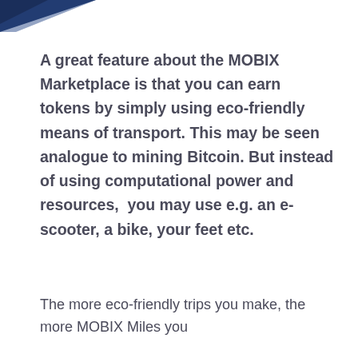[Figure (illustration): Blue diagonal decorative element in the top-left corner of the page]
A great feature about the MOBIX Marketplace is that you can earn tokens by simply using eco-friendly means of transport. This may be seen analogue to mining Bitcoin. But instead of using computational power and resources,  you may use e.g. an e-scooter, a bike, your feet etc.
The more eco-friendly trips you make, the more MOBIX Miles you